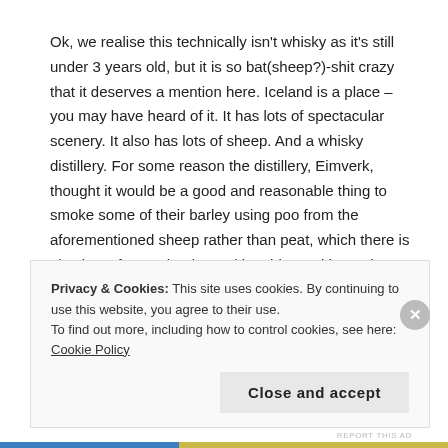Ok, we realise this technically isn't whisky as it's still under 3 years old, but it is so bat(sheep?)-shit crazy that it deserves a mention here. Iceland is a place – you may have heard of it. It has lots of spectacular scenery. It also has lots of sheep. And a whisky distillery. For some reason the distillery, Eimverk, thought it would be a good and reasonable thing to smoke some of their barley using poo from the aforementioned sheep rather than peat, which there is also lots of on Iceland. Smoking things with poo is traditional over there apparently.
REPORT THIS AD
Privacy & Cookies: This site uses cookies. By continuing to use this website, you agree to their use.
To find out more, including how to control cookies, see here: Cookie Policy
Close and accept